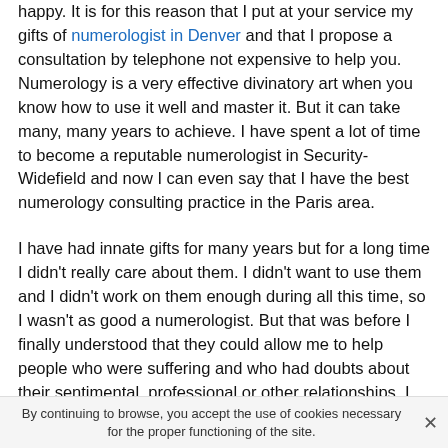happy. It is for this reason that I put at your service my gifts of numerologist in Denver and that I propose a consultation by telephone not expensive to help you. Numerology is a very effective divinatory art when you know how to use it well and master it. But it can take many, many years to achieve. I have spent a lot of time to become a reputable numerologist in Security-Widefield and now I can even say that I have the best numerology consulting practice in the Paris area.
I have had innate gifts for many years but for a long time I didn't really care about them. I didn't want to use them and I didn't work on them enough during all this time, so I wasn't as good a numerologist. But that was before I finally understood that they could allow me to help people who were suffering and who had doubts about their sentimental, professional or other relationships. I must say
By continuing to browse, you accept the use of cookies necessary for the proper functioning of the site.